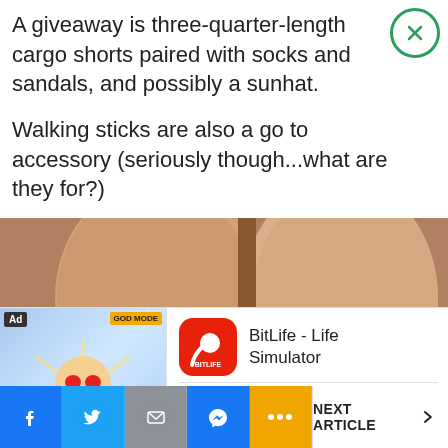A giveaway is three-quarter-length cargo shorts paired with socks and sandals, and possibly a sunhat.
Walking sticks are also a go to accessory (seriously though...what are they for?)
[Figure (photo): Close-up photo of a person's legs/knees, wearing socks and red shoes, standing on a sandy/paved surface with shadow visible.]
[Figure (screenshot): Mobile advertisement for BitLife - Life Simulator app, showing Ad badge, game character image, app icon, name, and Install button.]
[Figure (infographic): Bottom navigation bar with Facebook, Twitter, Email, Messenger, More (orange) buttons, and NEXT ARTICLE arrow on the right.]